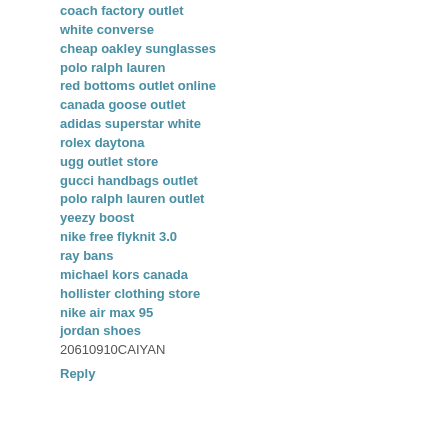coach factory outlet
white converse
cheap oakley sunglasses
polo ralph lauren
red bottoms outlet online
canada goose outlet
adidas superstar white
rolex daytona
ugg outlet store
gucci handbags outlet
polo ralph lauren outlet
yeezy boost
nike free flyknit 3.0
ray bans
michael kors canada
hollister clothing store
nike air max 95
jordan shoes
20610910CAIYAN
Reply